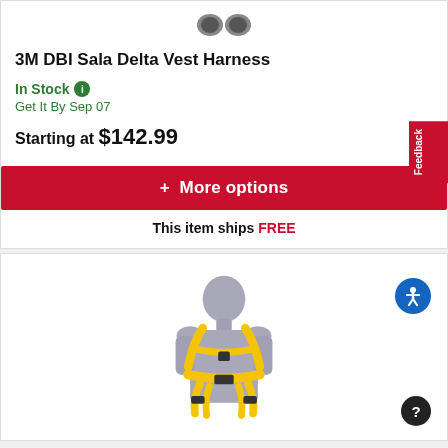[Figure (photo): Product thumbnail image of 3M DBI Sala Delta Vest Harness (small icon at top)]
3M DBI Sala Delta Vest Harness
In Stock
Get It By Sep 07
Starting at $142.99
+ More options
This item ships FREE
[Figure (photo): Mannequin wearing a yellow 3M DBI Sala Delta Vest safety harness with black buckles]